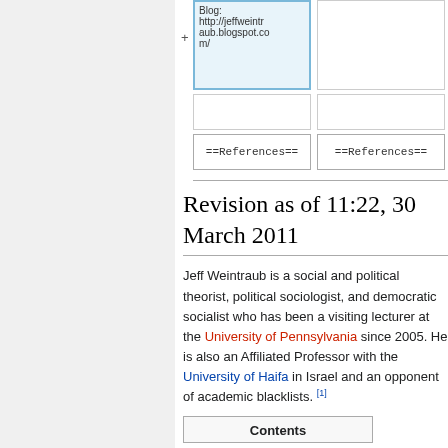[Figure (screenshot): Wikipedia diff view showing two comparison cells with ==References== labels, and a highlighted blue cell showing blog URL http://jeffweintraub.blogspot.com/ with a plus sign]
Revision as of 11:22, 30 March 2011
Jeff Weintraub is a social and political theorist, political sociologist, and democratic socialist who has been a visiting lecturer at the University of Pennsylvania since 2005. He is also an Affiliated Professor with the University of Haifa in Israel and an opponent of academic blacklists. [1]
Contents